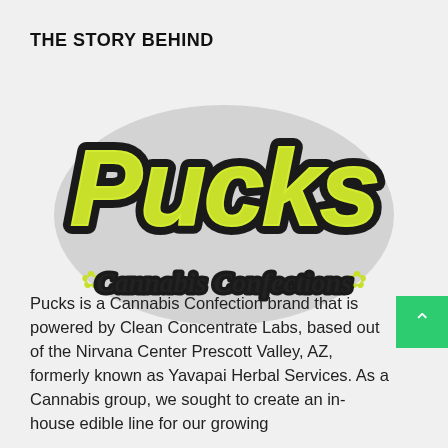THE STORY BEHIND
[Figure (logo): Pucks Cannabis Confections logo — graffiti-style yellow-green lettering 'Pucks' with black outline, and italic script 'Cannabis Confections' below with cannabis leaf decorations on either side]
Pucks is a Cannabis Confection brand that is powered by Clean Concentrate Labs, based out of the Nirvana Center Prescott Valley, AZ, formerly known as Yavapai Herbal Services. As a Cannabis group, we sought to create an in-house edible line for our growing